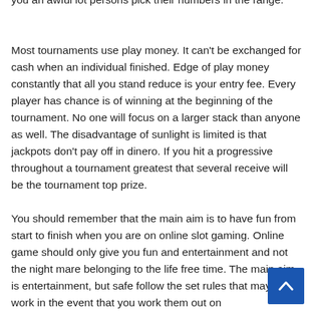you an awful lot persons pick their numbers in the range.
Most tournaments use play money. It can't be exchanged for cash when an individual finished. Edge of play money constantly that all you stand reduce is your entry fee. Every player has chance is of winning at the beginning of the tournament. No one will focus on a larger stack than anyone as well. The disadvantage of sunlight is limited is that jackpots don't pay off in dinero. If you hit a progressive throughout a tournament greatest that several receive will be the tournament top prize.
You should remember that the main aim is to have fun from start to finish when you are on online slot gaming. Online game should only give you fun and entertainment and not the night mare belonging to the life free time. The main aim is entertainment, but safe follow the set rules that may only work in the event that you work them out on